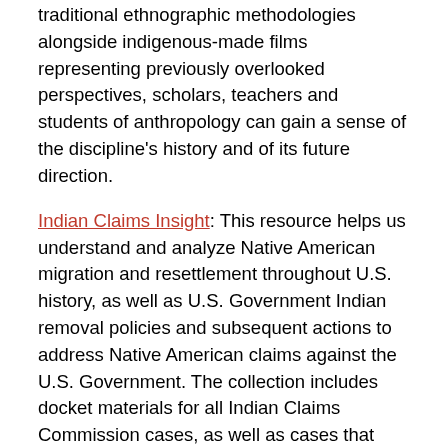traditional ethnographic methodologies alongside indigenous-made films representing previously overlooked perspectives, scholars, teachers and students of anthropology can gain a sense of the discipline's history and of its future direction.
Indian Claims Insight: This resource helps us understand and analyze Native American migration and resettlement throughout U.S. history, as well as U.S. Government Indian removal policies and subsequent actions to address Native American claims against the U.S. Government. The collection includes docket materials for all Indian Claims Commission cases, as well as cases that preceded and followed the existence of the commission.
Both trials are available through April 1st. Please